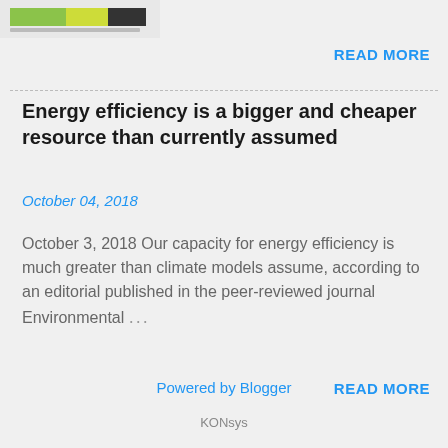[Figure (other): Small thumbnail image with colored bar graphic at top left]
READ MORE
Energy efficiency is a bigger and cheaper resource than currently assumed
October 04, 2018
October 3, 2018 Our capacity for energy efficiency is much greater than climate models assume, according to an editorial published in the peer-reviewed journal Environmental …
READ MORE
Powered by Blogger
KONsys